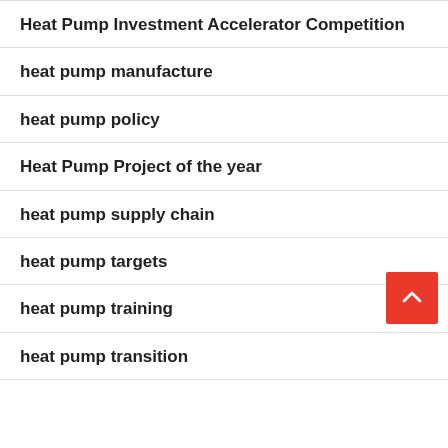Heat Pump Investment Accelerator Competition
heat pump manufacture
heat pump policy
Heat Pump Project of the year
heat pump supply chain
heat pump targets
heat pump training
heat pump transition